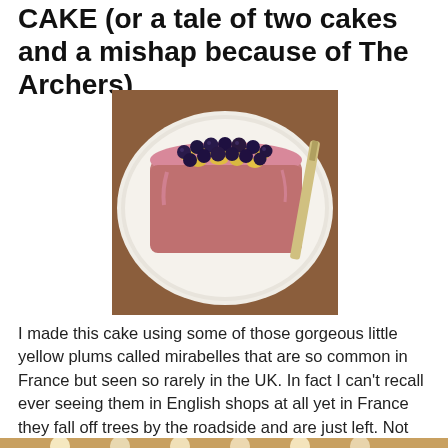CAKE (or a tale of two cakes and a mishap because of The Archers)
[Figure (photo): A loaf cake topped with blueberries and yellow mirabelle plums with pink glaze, sitting on a white plate on a wooden surface]
I made this cake using some of those gorgeous little yellow plums called mirabelles that are so common in France but seen so rarely in the UK.  In fact I can't recall ever seeing them in English shops at all yet in France they fall off trees by the roadside and are just left.  Not long ago we drove along a stretch of road that was a sea of squashed plums in places, which seems such a terrible shame.
[Figure (photo): Bottom edge of another photo partially visible at the bottom of the page]